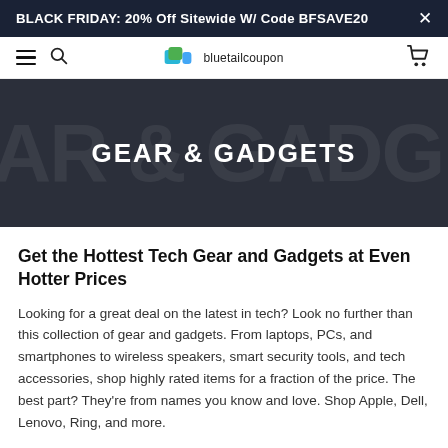BLACK FRIDAY: 20% Off Sitewide W/ Code BFSAVE20
[Figure (logo): Bluetailcoupon logo with shopping tag icons and site name]
GEAR & GADGETS
Get the Hottest Tech Gear and Gadgets at Even Hotter Prices
Looking for a great deal on the latest in tech? Look no further than this collection of gear and gadgets. From laptops, PCs, and smartphones to wireless speakers, smart security tools, and tech accessories, shop highly rated items for a fraction of the price. The best part? They're from names you know and love. Shop Apple, Dell, Lenovo, Ring, and more.